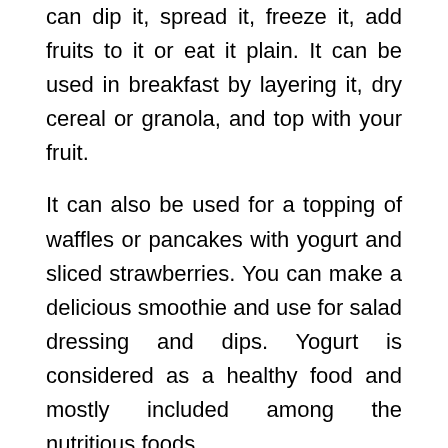can dip it, spread it, freeze it, add fruits to it or eat it plain. It can be used in breakfast by layering it, dry cereal or granola, and top with your fruit.
It can also be used for a topping of waffles or pancakes with yogurt and sliced strawberries. You can make a delicious smoothie and use for salad dressing and dips. Yogurt is considered as a healthy food and mostly included among the nutritious foods.
For the latest updates, you can join our WhatsApp group or Telegram Channel.
Never pay the full price, download Saudi Coupon Codes application and get all discount codes in one place.